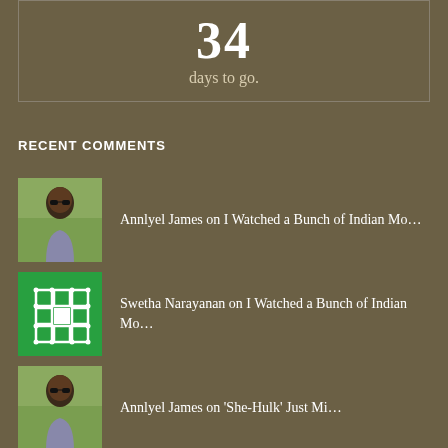[Figure (other): Box showing '34 days to go.' countdown]
RECENT COMMENTS
Annlyel James on I Watched a Bunch of Indian Mo...
Swetha Narayanan on I Watched a Bunch of Indian Mo...
Annlyel James on 'She-Hulk' Just Mi...
Eric Foley on 'She-Hulk' Just Mi...
Annlyel James on 'She-Hulk' Just Mi...